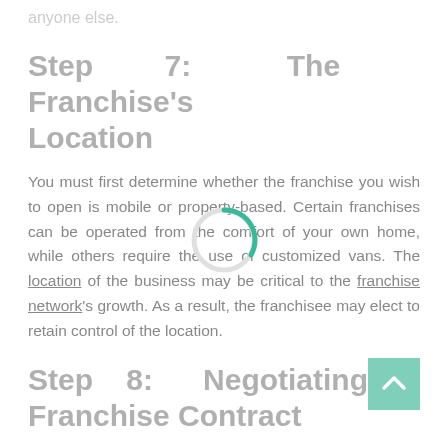anyone else.
Step 7: The Franchise's Location
You must first determine whether the franchise you wish to open is mobile or property-based. Certain franchises can be operated from the comfort of your own home, while others require the use of customized vans. The location of the business may be critical to the franchise network's growth. As a result, the franchisee may elect to retain control of the location.
Step 8: Negotiating a Franchise Contract
If you are considering franchising, you must first